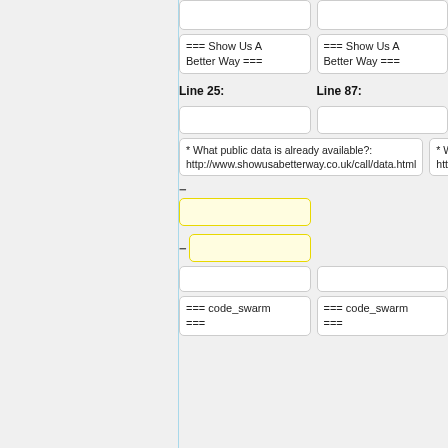=== Show Us A Better Way ===
=== Show Us A Better Way ===
Line 25:
Line 87:
* What public data is already available?: http://www.showusabetterway.co.uk/call/data.html
* What public data is already available?: http://www.showusabetterway.co.uk/call/data.html
=== code_swarm ===
=== code_swarm ===